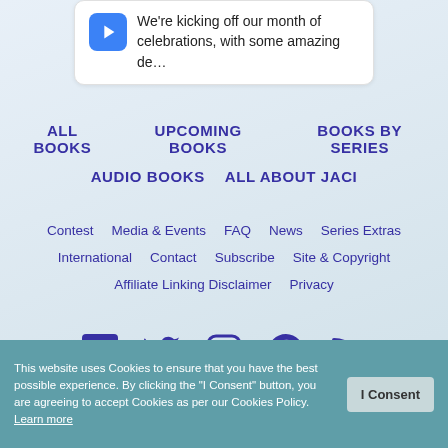[Figure (screenshot): Tweet card with blue play/Twitter icon showing truncated text: We're kicking off our month of celebrations, with some amazing de...]
ALL BOOKS
UPCOMING BOOKS
BOOKS BY SERIES
AUDIO BOOKS
ALL ABOUT JACI
Contest
Media & Events
FAQ
News
Series Extras
International
Contact
Subscribe
Site & Copyright
Affiliate Linking Disclaimer
Privacy
[Figure (illustration): Social media icons row: Facebook, Twitter, Instagram, Pinterest, RSS feed — all in dark purple/indigo color]
This website uses Cookies to ensure that you have the best possible experience. By clicking the "I Consent" button, you are agreeing to accept Cookies as per our Cookies Policy. Learn more